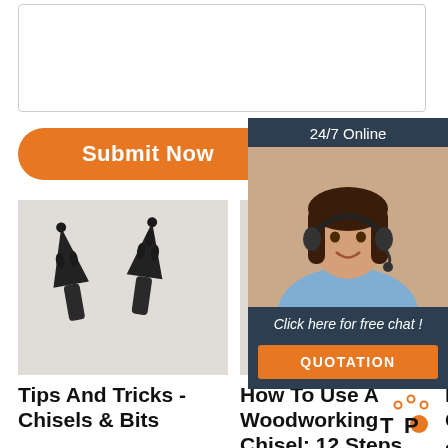[Figure (other): Text input textarea box with rounded border]
[Figure (other): Orange rounded Submit Now button]
[Figure (other): 24/7 Online chat widget with agent photo, 'Click here for free chat!' text, and orange QUOTATION button]
[Figure (photo): Photo of two dark metal chisel/drill bit tools on white background]
Tips And Tricks - Chisels & Bits
[Figure (photo): Photo of a single dark metal chisel/drill bit tool on white background]
How To Use A Woodworking Chisel: 12 Steps (With
Frequently Asked Questions - Chisels & Bits
[Figure (logo): TOP logo with orange dot and decorative dots]